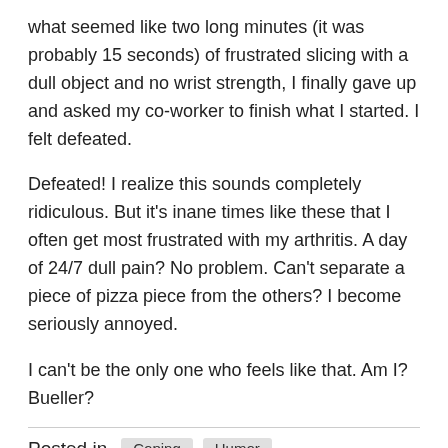what seemed like two long minutes (it was probably 15 seconds) of frustrated slicing with a dull object and no wrist strength, I finally gave up and asked my co-worker to finish what I started. I felt defeated.
Defeated! I realize this sounds completely ridiculous. But it's inane times like these that I often get most frustrated with my arthritis. A day of 24/7 dull pain? No problem. Can't separate a piece of pizza piece from the others? I become seriously annoyed.
I can't be the only one who feels like that. Am I? Bueller?
Posted in   Coping   Humor
Tagged   frustration   rheumatoid arthritis